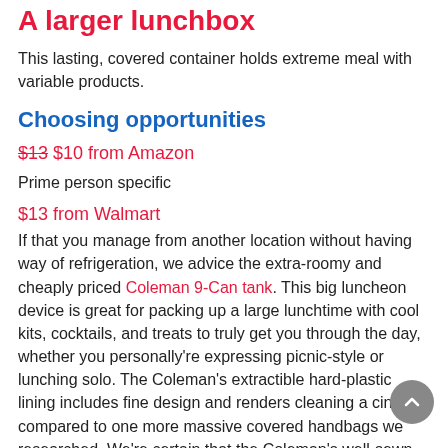A larger lunchbox
This lasting, covered container holds extreme meal with variable products.
Choosing opportunities
$13 $10 from Amazon
Prime person specific
$13 from Walmart
If that you manage from another location without having way of refrigeration, we advice the extra-roomy and cheaply priced Coleman 9-Can tank. This big luncheon device is great for packing up a large lunchtime with cool kits, cocktails, and treats to truly get you through the day, whether you personally're expressing picnic-style or lunching solo. The Coleman's extractible hard-plastic lining includes fine design and renders cleaning a cinch compared to one more massive covered handbags we researched. We're certain that the Coleman's well-sewn,